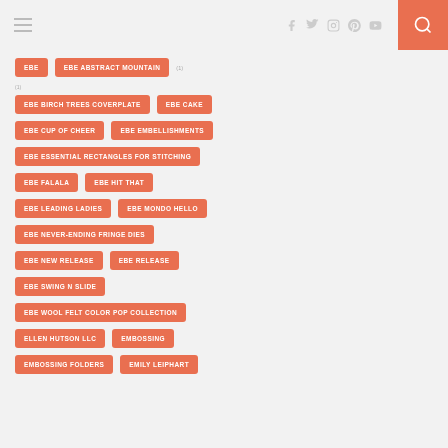Navigation header with hamburger menu, social icons (Facebook, Twitter, Instagram, Pinterest, YouTube), and search button
EBE
EBE ABSTRACT MOUNTAIN
EBE BIRCH TREES COVERPLATE
EBE CAKE
EBE CUP OF CHEER
EBE EMBELLISHMENTS
EBE ESSENTIAL RECTANGLES FOR STITCHING
EBE FALALA
EBE HIT THAT
EBE LEADING LADIES
EBE MONDO HELLO
EBE NEVER-ENDING FRINGE DIES
EBE NEW RELEASE
EBE RELEASE
EBE SWING N SLIDE
EBE WOOL FELT COLOR POP COLLECTION
ELLEN HUTSON LLC
EMBOSSING
EMBOSSING FOLDERS
EMILY LEIPHART